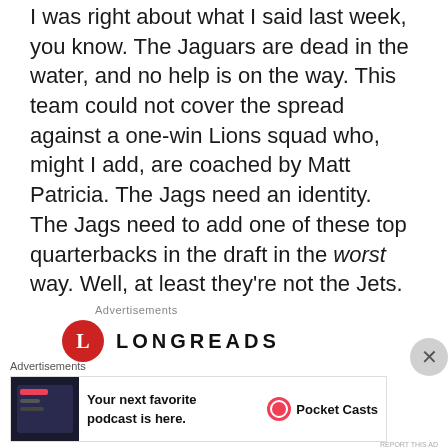I was right about what I said last week, you know. The Jaguars are dead in the water, and no help is on the way. This team could not cover the spread against a one-win Lions squad who, might I add, are coached by Matt Patricia. The Jags need an identity. The Jags need to add one of these top quarterbacks in the draft in the worst way. Well, at least they're not the Jets.
Advertisements
[Figure (logo): Longreads logo with red circle containing letter L, followed by LONGREADS in bold caps, with tagline 'Bringing you the best stories on the web since 2009']
Advertisements
[Figure (screenshot): Pocket Casts advertisement: Your next favorite podcast is here. Pocket Casts logo.]